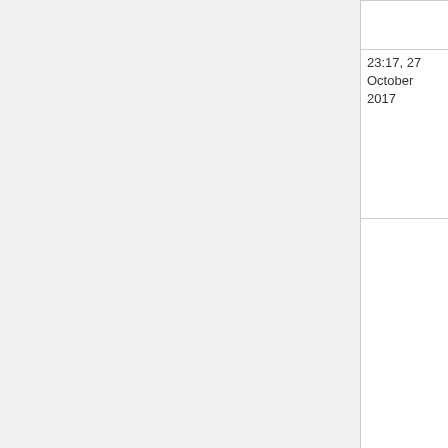| Date | File | Thumbnail |
| --- | --- | --- |
|  |  |  |
| 23:17, 27 October 2017 | Web vs oip stack comparison.png (file) | [thumbnail] |
| 20:52, 27 October 2017 | Offer price vs conditions seg3.png (file) | [thumbnail] |
| 22:06, 26 October | Offer price vs conditions seg2.png | [thumbnail] |